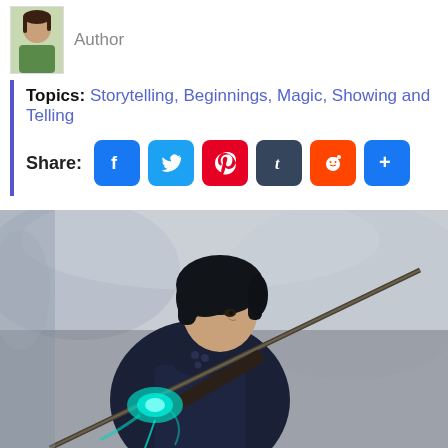[Figure (photo): Author photo - woman with dark hair in green shirt]
Author
Topics: Storytelling, Beginnings, Magic, Showing and Telling
Share: (Facebook, Twitter, Pinterest, Tumblr, Reddit, More)
[Figure (illustration): Fantasy illustration of a dark-haired warrior girl in dark armor holding a staff/spear, with glowing teal energy around her hands, misty gray background.]